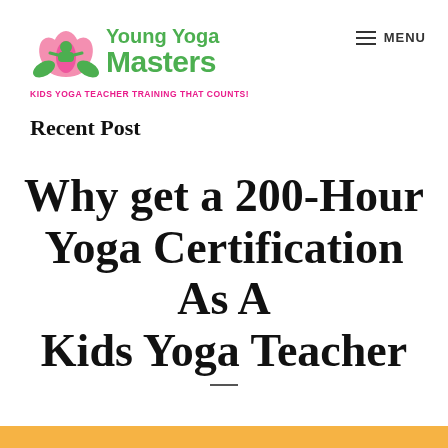[Figure (logo): Young Yoga Masters logo with lotus flower icon, green text 'Young Yoga Masters' and pink tagline 'KIDS YOGA TEACHER TRAINING THAT COUNTS!']
MENU
Recent Post
Why get a 200-Hour Yoga Certification As A Kids Yoga Teacher